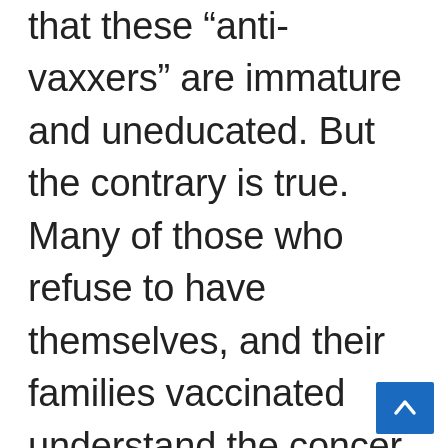that these “anti-vaxxers” are immature and uneducated. But the contrary is true. Many of those who refuse to have themselves, and their families vaccinated understand the concern